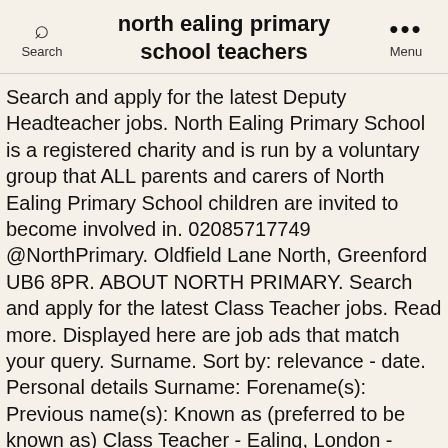north ealing primary school teachers
Search and apply for the latest Deputy Headteacher jobs. North Ealing Primary School is a registered charity and is run by a voluntary group that ALL parents and carers of North Ealing Primary School children are invited to become involved in. 02085717749 @NorthPrimary. Oldfield Lane North, Greenford UB6 8PR. ABOUT NORTH PRIMARY. Search and apply for the latest Class Teacher jobs. Read more. Displayed here are job ads that match your query. Surname. Sort by: relevance - date. Personal details Surname: Forename(s): Previous name(s): Known as (preferred to be known as) Class Teacher - Ealing, London - Primary ** Class Teacher - Year 5 ** Ealing ** 2 Form Entry ** Very Supportive School ** Primary ** January 2018 Start ** Permanent Position I currently am recruiting for a Class Teacher for a 2 form entry Primary School in West London. 7 days ago; Save Primary Teacher - Year 6. View details Primary Teacher - Year 6. The figures below are for the 2018/2019